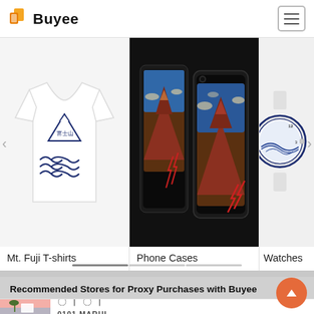Buyee
[Figure (photo): Mt. Fuji T-shirt product image - white t-shirt with Japanese characters and Mt. Fuji wave design]
Mt. Fuji T-shirts
[Figure (photo): Phone cases product image - three phone cases showing Japanese woodblock print of Mt. Fuji (Red Fuji)]
Phone Cases
[Figure (photo): Watches product image - partial view of a white watch with Japanese wave design]
Watches
Recommended Stores for Proxy Purchases with Buyee
[Figure (photo): 0101 MARUI store thumbnail image]
0101 MARUI